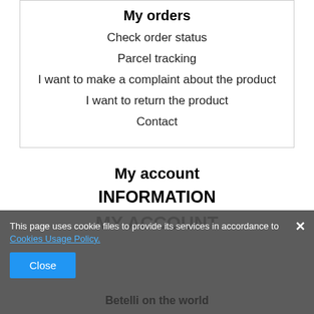My orders
Check order status
Parcel tracking
I want to make a complaint about the product
I want to return the product
Contact
My account
INFORMATION
MY ACCOUNT
This page uses cookie files to provide its services in accordance to Cookies Usage Policy.
Betelli on the world